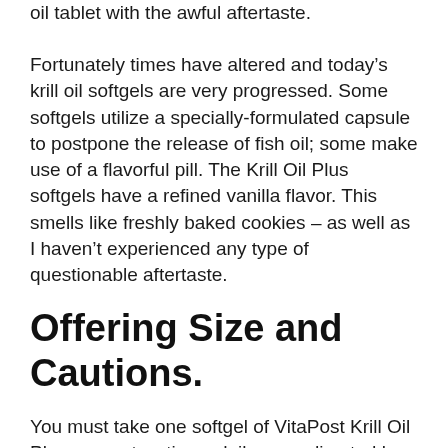oil tablet with the awful aftertaste.
Fortunately times have altered and today’s krill oil softgels are very progressed. Some softgels utilize a specially-formulated capsule to postpone the release of fish oil; some make use of a flavorful pill. The Krill Oil Plus softgels have a refined vanilla flavor. This smells like freshly baked cookies – as well as I haven’t experienced any type of questionable aftertaste.
Offering Size and Cautions.
You must take one softgel of VitaPost Krill Oil Plus one or two times daily or as directed by